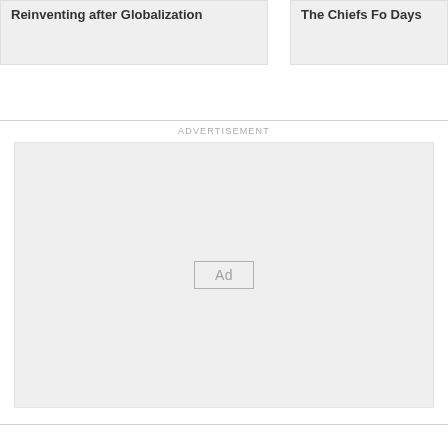Reinventing after Globalization
The Chiefs Fo Days
ADVERTISEMENT
[Figure (other): Advertisement placeholder box with 'Ad' label in center]